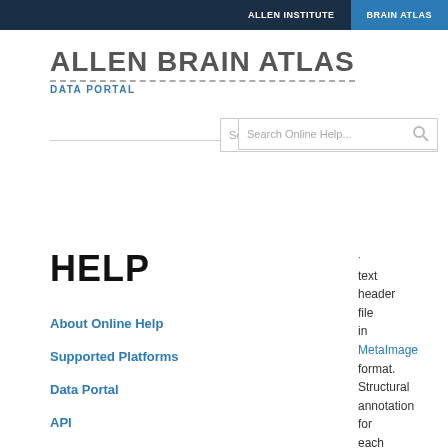ALLEN INSTITUTE   BRAIN ATLAS
ALLEN BRAIN ATLAS
DATA PORTAL
Search Online Help...
HELP
About Online Help
Supported Platforms
Data Portal
API
text header file in MetaImage format. Structural annotation for each grid voxel